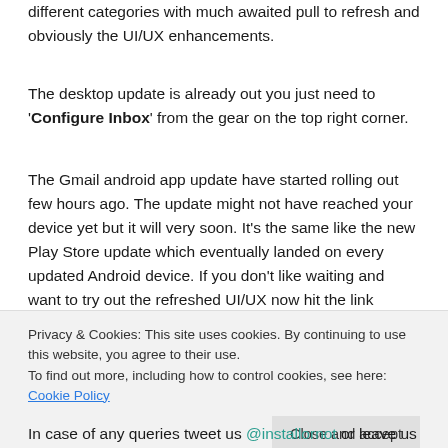different categories with much awaited pull to refresh and obviously the UI/UX enhancements.
The desktop update is already out you just need to 'Configure Inbox' from the gear on the top right corner.
The Gmail android app update have started rolling out few hours ago. The update might not have reached your device yet but it will very soon. It's the same like the new Play Store update which eventually landed on every updated Android device. If you don't like waiting and want to try out the refreshed UI/UX now hit the link below. Download the .apk
Privacy & Cookies: This site uses cookies. By continuing to use this website, you agree to their use.
To find out more, including how to control cookies, see here: Cookie Policy
Close and accept
In case of any queries tweet us @installornot or leave us a